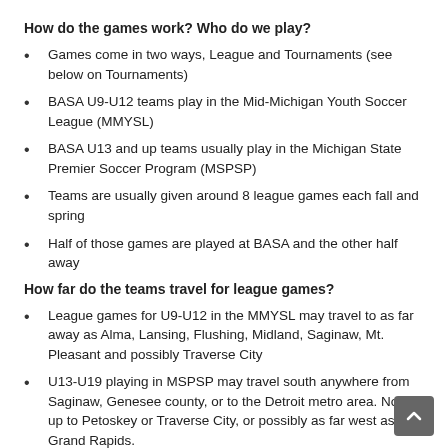How do the games work? Who do we play?
Games come in two ways, League and Tournaments (see below on Tournaments)
BASA U9-U12 teams play in the Mid-Michigan Youth Soccer League (MMYSL)
BASA U13 and up teams usually play in the Michigan State Premier Soccer Program (MSPSP)
Teams are usually given around 8 league games each fall and spring
Half of those games are played at BASA and the other half away
How far do the teams travel for league games?
League games for U9-U12 in the MMYSL may travel to as far away as Alma, Lansing, Flushing, Midland, Saginaw, Mt. Pleasant and possibly Traverse City
U13-U19 playing in MSPSP may travel south anywhere from Saginaw, Genesee county, or to the Detroit metro area. North up to Petoskey or Traverse City, or possibly as far west as Grand Rapids.